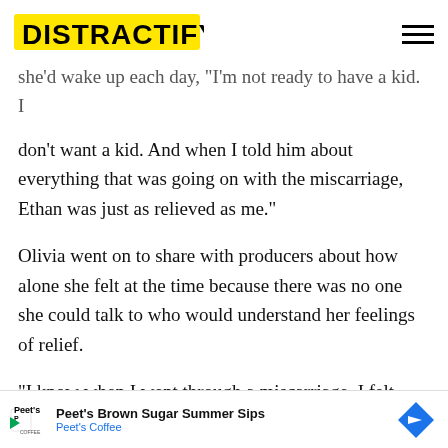DISTRACTIFY
she'd wake up each day, 'I'm not ready to have a kid. I don't want a kid. And when I told him about everything that was going on with the miscarriage, Ethan was just as relieved as me."
Olivia went on to share with producers about how alone she felt at the time because there was no one she could talk to who would understand her feelings of relief.
"I know when I went through a miscarriage, I felt really alone because I was glad," she said. "And I felt like I was wrong for feeling that way. And I wish I'd had more people to talk to, who could've been a sounding board. Or who could've... [that I
[Figure (other): Advertisement banner for Peet's Brown Sugar Summer Sips by Peet's Coffee with logo and arrow icon]